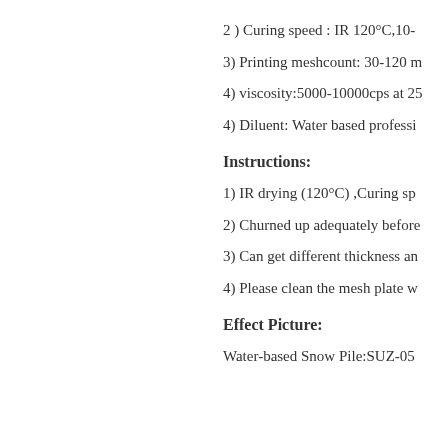2 ) Curing speed : IR 120°C,10-
3) Printing meshcount: 30-120 m
4) viscosity:5000-10000cps at 25
4) Diluent: Water based professi
Instructions:
1) IR drying (120°C) ,Curing sp
2) Churned up adequately before
3) Can get different thickness an
4) Please clean the mesh plate w
Effect Picture:
Water-based Snow Pile:SUZ-05